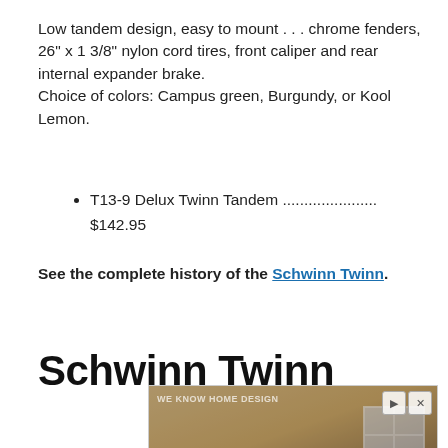Low tandem design, easy to mount . . . chrome fenders, 26" x 1 3/8" nylon cord tires, front caliper and rear internal expander brake.
Choice of colors: Campus green, Burgundy, or Kool Lemon.
T13-9 Delux Twinn Tandem ...................... $142.95
See the complete history of the Schwinn Twinn.
Schwinn Twinn
[Figure (photo): Advertisement showing a kitchen scene with people at a counter, with a Book Now button and close/play controls.]